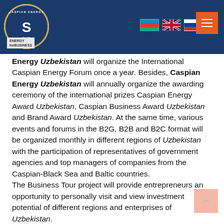Caspian Energy Club navigation bar with logo, flags, and hamburger menu
Energy Uzbekistan will organize the International Caspian Energy Forum once a year. Besides, Caspian Energy Uzbekistan will annually organize the awarding ceremony of the international prizes Caspian Energy Award Uzbekistan, Caspian Business Award Uzbekistan and Brand Award Uzbekistan. At the same time, various events and forums in the B2G, B2B and B2C format will be organized monthly in different regions of Uzbekistan with the participation of representatives of government agencies and top managers of companies from the Caspian-Black Sea and Baltic countries.
The Business Tour project will provide entrepreneurs an opportunity to personally visit and view investment potential of different regions and enterprises of Uzbekistan.
The international journal Caspian Energy has been operating since May 28, 1999 and is distributed in 50 countries around the world. The Caspian Energy trademark was also registered in 50 countries around the world.
For 20 years, the journal has published interviews of presidents and prime ministers of different countries, as well as heads of reputable and international organizations, large multinational companies, surveys and analytical materials of leading experts. According to various estimates, Caspian